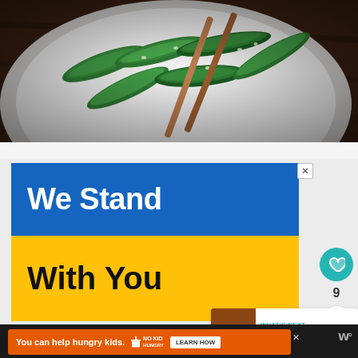[Figure (photo): Food photo showing green peppers/edamame with chopsticks on a white plate against a dark wooden table background]
[Figure (infographic): Advertisement banner with Ukraine flag colors (blue top half, yellow bottom half) with white text 'We Stand' on blue and black text 'With You' on yellow. Has an X close button in top right corner.]
[Figure (infographic): Thumbnail card labeled 'WHAT'S NEXT' with arrow, showing food image and text 'What to Serve with Kielbas...']
[Figure (infographic): Orange advertisement banner at bottom: 'You can help hungry kids.' with No Kid Hungry logo and 'LEARN HOW' button]